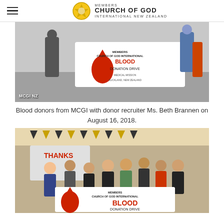MEMBERS CHURCH OF GOD INTERNATIONAL NEW ZEALAND
[Figure (photo): Group photo of blood donors from MCGI with a Blood Donation Drive banner in Auckland, New Zealand. Banner reads: MEMBERS CHURCH OF GOD INTERNATIONAL BLOOD DONATION DRIVE MEDICAL MISSION AUCKLAND, NEW ZEALAND. 'MCGI NZ' watermark at bottom left.]
Blood donors from MCGI with donor recruiter Ms. Beth Brannen on August 16, 2018.
[Figure (photo): Group photo of MCGI members holding a Members Church of God International Blood Donation Drive banner, taken indoors with decorations visible in the background.]